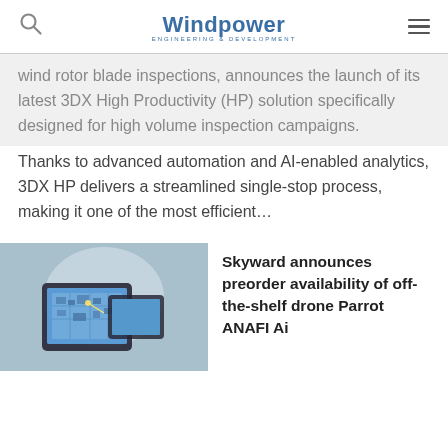Windpower Engineering & Development
wind rotor blade inspections, announces the launch of its latest 3DX High Productivity (HP) solution specifically designed for high volume inspection campaigns. Thanks to advanced automation and AI-enabled analytics, 3DX HP delivers a streamlined single-stop process, making it one of the most efficient…
[Figure (photo): Photo of a tablet device showing a map/aerial view application, likely related to drone or inspection technology. Grey-blue background.]
Skyward announces preorder availability of off-the-shelf drone Parrot ANAFI Ai